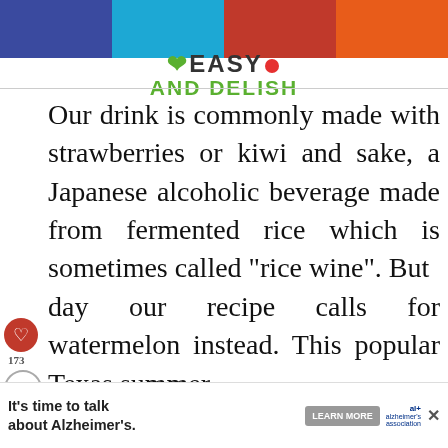EASY AND DELISH
Our drink is commonly made with strawberries or kiwi and sake, a Japanese alcoholic beverage made from fermented rice which is sometimes called "rice wine". But today our recipe calls for watermelon instead. This popular Texas summer , also one of my favorite tropical fruits too! Although I could
[Figure (other): Whats Next promo showing Creamy Pineapple recipe with thumbnail image]
[Figure (other): Red search button icon]
[Figure (other): Advertisement banner: It's time to talk about Alzheimer's. with Learn More button and Alzheimer's Association logo]